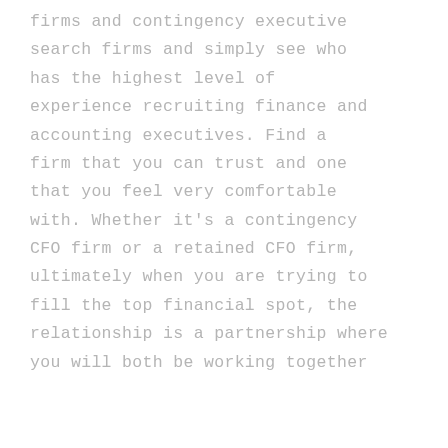firms and contingency executive search firms and simply see who has the highest level of experience recruiting finance and accounting executives. Find a firm that you can trust and one that you feel very comfortable with. Whether it's a contingency CFO firm or a retained CFO firm, ultimately when you are trying to fill the top financial spot, the relationship is a partnership where you will both be working together